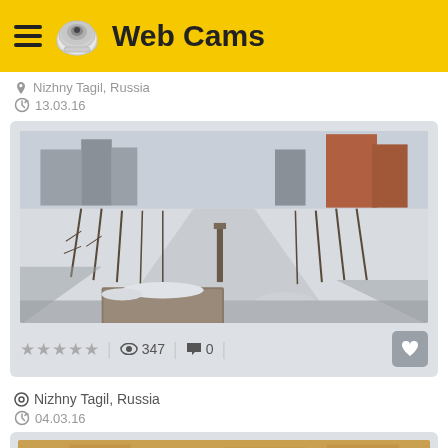Web Cams
Nizhny Tagil, Russia
13.03.16
[Figure (photo): Winter aerial view of a park in Nizhny Tagil, Russia, showing snow-covered ground, bare trees, a central monument/column, and city buildings in the background under a hazy sky.]
★★★★★ | 👁 347 | 💬 0
Nizhny Tagil, Russia
04.03.16
[Figure (photo): Partial view of another webcam image from Nizhny Tagil, Russia, showing what appears to be a street or outdoor scene with warm/orange tones.]